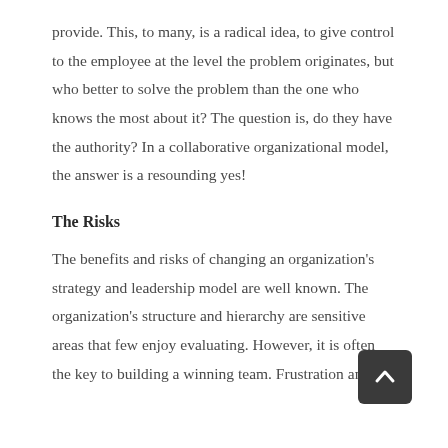provide. This, to many, is a radical idea, to give control to the employee at the level the problem originates, but who better to solve the problem than the one who knows the most about it? The question is, do they have the authority? In a collaborative organizational model, the answer is a resounding yes!
The Risks
The benefits and risks of changing an organization's strategy and leadership model are well known. The organization's structure and hierarchy are sensitive areas that few enjoy evaluating. However, it is often the key to building a winning team. Frustration among